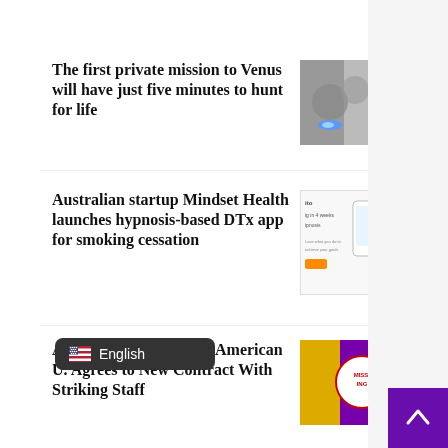The first private mission to Venus will have just five minutes to hunt for life
[Figure (photo): Close-up photo of a rock or planetary surface with a blue light glare]
Australian startup Mindset Health launches hypnosis-based DTx app for smoking cessation
[Figure (screenshot): Screenshot of Mindset Health app interface showing phone and promotional text]
After Student Walkout, American U. Agrees to New Contract With Striking Staff
[Figure (photo): Purple background with a MISSING circular badge/button]
English
[Figure (other): Back to top button with upward arrow, purple background]